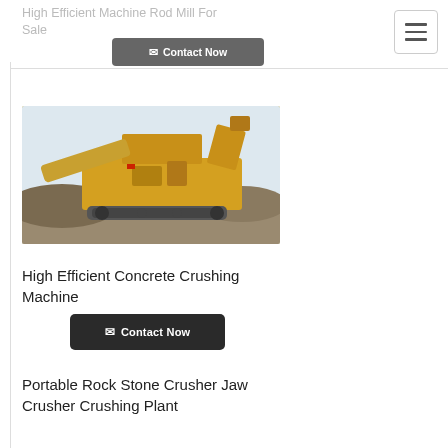High Efficient Machine Rod Mill For Sale
[Figure (screenshot): Contact Now button (dark grey, envelope icon)]
[Figure (photo): Large yellow industrial concrete crushing machine / mobile jaw crusher on tracks at a gravel/rock site]
High Efficient Concrete Crushing Machine
[Figure (screenshot): Contact Now button (dark, envelope icon)]
Portable Rock Stone Crusher Jaw Crusher Crushing Plant